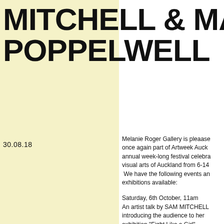MITCHELL & MA POPPELWELL
30.08.18
Melanie Roger Gallery is pleaase once again part of Artweek Auck annual week-long festival celebra visual arts of Auckland from 6-14 We have the following events an exhibitions available:
Saturday, 6th October, 11am An artist talk by SAM MITCHELL introducing the audience to her exhibition "Fight Like a Girl"